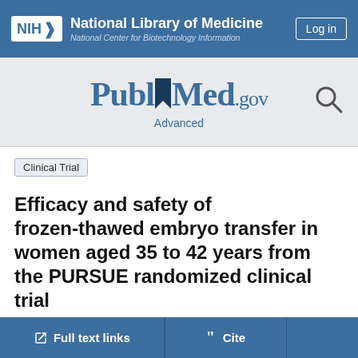National Library of Medicine | National Center for Biotechnology Information | Log in
[Figure (logo): PubMed.gov logo with search icon and Advanced link]
Clinical Trial
Efficacy and safety of frozen-thawed embryo transfer in women aged 35 to 42 years from the PURSUE randomized clinical trial
Robert Boostanfar et al. Fertil Steril. 2016 Aug.
Show details
Full text links | Cite